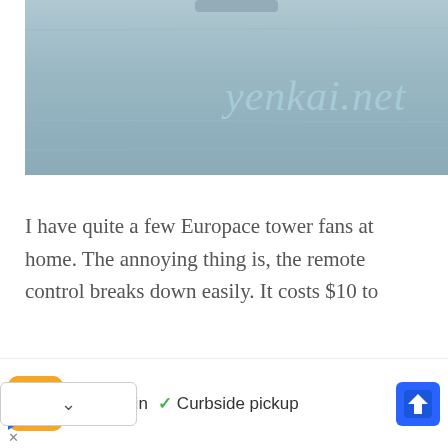[Figure (photo): Photo of a wooden surface/table with 'yenkai.net' watermark text in light blue cursive script overlaid on the image.]
I have quite a few Europace tower fans at home. The annoying thing is, the remote control breaks down easily. It costs $10 to
a replacement from Europace, which is
[Figure (other): Advertisement banner showing Yelp-style logo with 'Dine-in' and 'Curbside pickup' checkmarks and a navigation arrow icon.]